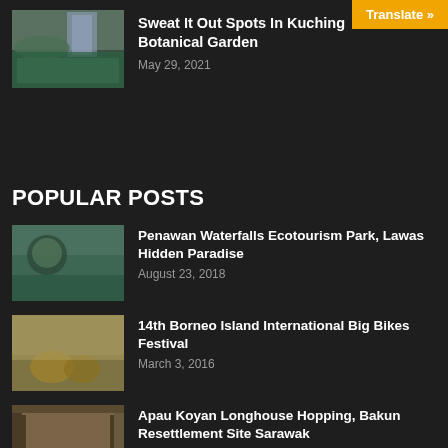[Figure (photo): Botanical garden with lake and tall building in background]
Sweat It Out Spots In Kuching Botanical Garden
May 29, 2021
POPULAR POSTS
[Figure (photo): Person touching water at Penawan Waterfalls]
Penawan Waterfalls Ecotourism Park, Lawas Hidden Paradise
August 23, 2018
[Figure (photo): Big bikes festival street scene with decorated motorcycles]
14th Borneo Island International Big Bikes Festival
March 3, 2016
[Figure (photo): Longhouse corridor with person sitting]
Apau Koyan Longhouse Hopping, Bakun Resettlement Site Sarawak
October 3, 2017